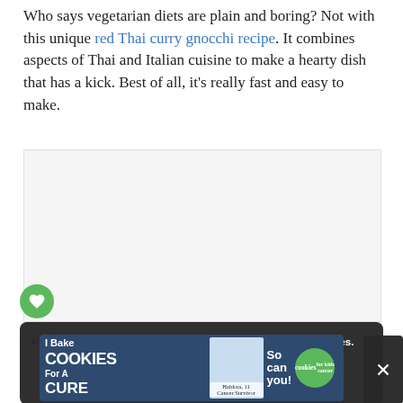Who says vegetarian diets are plain and boring? Not with this unique red Thai curry gnocchi recipe. It combines aspects of Thai and Italian cuisine to make a hearty dish that has a kick. Best of all, it's really fast and easy to make.
[Figure (other): Grey placeholder image box for embedded content (likely a video or image)]
[Figure (other): Cookie consent banner overlay with dark background, text saying 'By continuing to use the site, you agree to the use of cookies.' with 'more information' underlined link and ACCEPT button]
[Figure (other): Advertisement banner: 'I Bake COOKIES For A CURE' with photo of Haldora, 11 Cancer Survivor, and 'So can you!' with cookies for kids cancer logo]